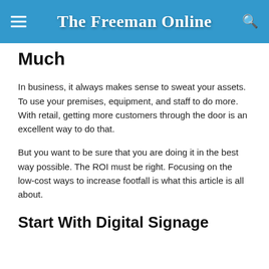The Freeman Online
Much
In business, it always makes sense to sweat your assets. To use your premises, equipment, and staff to do more. With retail, getting more customers through the door is an excellent way to do that.
But you want to be sure that you are doing it in the best way possible. The ROI must be right. Focusing on the low-cost ways to increase footfall is what this article is all about.
Start With Digital Signage